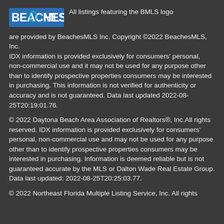All listings featuring the BMLS logo are provided by BeachesMLS Inc. Copyright ©2022 BeachesMLS, Inc. IDX information is provided exclusively for consumers' personal, non-commercial use and it may not be used for any purpose other than to identify prospective properties consumers may be interested in purchasing. This information is not verified for authenticity or accuracy and is not guaranteed. Data last updated 2022-08-25T20:19:01.76.
© 2022 Daytona Beach Area Association of Realtors®, Inc.All rights reserved. IDX information is provided exclusively for consumers' personal, non-commercial use and may not be used for any purpose other than to identify prospective properties consumers may be interested in purchasing. Information is deemed reliable but is not guaranteed accurate by the MLS or Dalton Wade Real Estate Group. Data last updated: 2022-08-25T20:25:03.77.
© 2022 Northeast Florida Multiple Listing Service, Inc. All rights